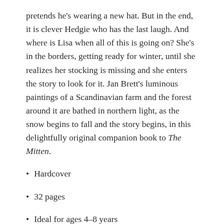pretends he's wearing a new hat. But in the end, it is clever Hedgie who has the last laugh. And where is Lisa when all of this is going on? She's in the borders, getting ready for winter, until she realizes her stocking is missing and she enters the story to look for it. Jan Brett's luminous paintings of a Scandinavian farm and the forest around it are bathed in northern light, as the snow begins to fall and the story begins, in this delightfully original companion book to The Mitten.
Hardcover
32 pages
Ideal for ages 4–8 years